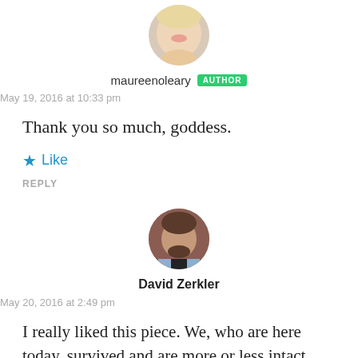[Figure (photo): Circular avatar photo of a smiling woman with blonde hair (maurreenoleary)]
maureenoleary AUTHOR
May 19, 2016 at 10:33 pm
Thank you so much, goddess.
★ Like
REPLY
[Figure (photo): Circular avatar photo of a dark-haired man with a beard (David Zerkler)]
David Zerkler
May 20, 2016 at 2:49 pm
I really liked this piece. We, who are here today, survived and are more or less intact. Not everyone then made it to